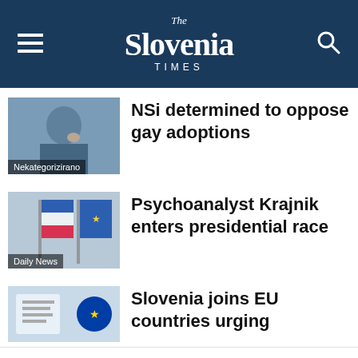The Slovenia Times
[Figure (photo): Thumbnail photo of a man in a suit thinking, with 'Nekategorizirano' label overlay]
NSi determined to oppose gay adoptions
[Figure (photo): Thumbnail photo of Slovenian and EU flags with 'Daily News' label overlay]
Psychoanalyst Krajnik enters presidential race
[Figure (photo): Thumbnail photo related to EU/documents, partially visible]
Slovenia joins EU countries urging
We use cookies on our website to give you the most relevant experience by remembering your preferences and repeat visits. By clicking “Accept”, you consent to the use of ALL the cookies.
Cookie settings   ACCEPT